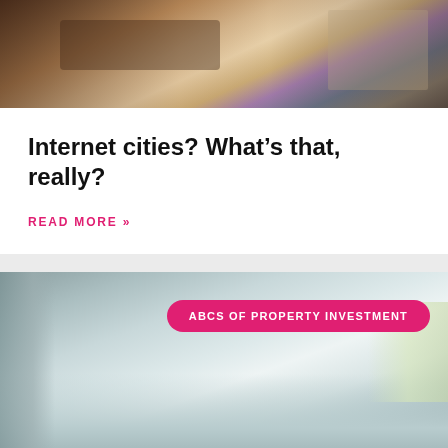[Figure (photo): Person working on a laptop at a wooden desk, wearing a light pink sweater]
Internet cities? What's that, really?
READ MORE »
[Figure (photo): Interior room photo showing ceiling and walls, with a pink badge label reading 'ABCS OF PROPERTY INVESTMENT']
Like Us For Daily Investment News And More  →  Follow  7.1K people are fo